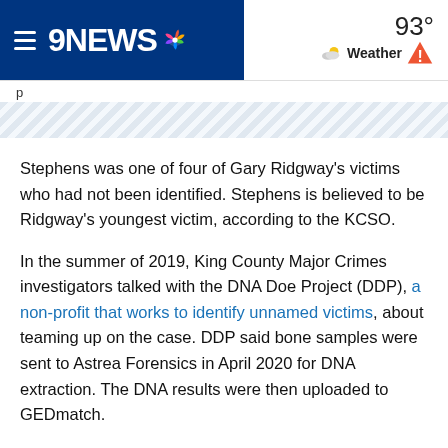9NEWS | 93° Weather
Stephens was one of four of Gary Ridgway's victims who had not been identified. Stephens is believed to be Ridgway's youngest victim, according to the KCSO.
In the summer of 2019, King County Major Crimes investigators talked with the DNA Doe Project (DDP), a non-profit that works to identify unnamed victims, about teaming up on the case. DDP said bone samples were sent to Astrea Forensics in April 2020 for DNA extraction. The DNA results were then uploaded to GEDmatch.
DDP said one of Wendy Stephens' parents took a direct-to-consumer DNA test in early 2019 and uploaded the results